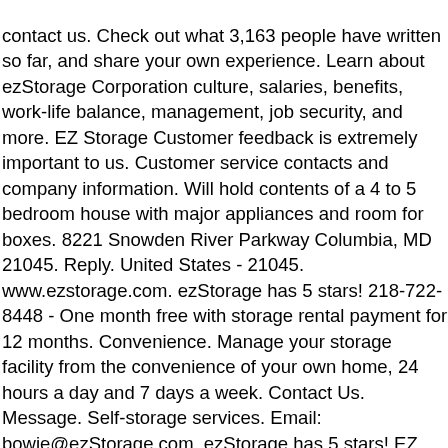contact us. Check out what 3,163 people have written so far, and share your own experience. Learn about ezStorage Corporation culture, salaries, benefits, work-life balance, management, job security, and more. EZ Storage Customer feedback is extremely important to us. Customer service contacts and company information. Will hold contents of a 4 to 5 bedroom house with major appliances and room for boxes. 8221 Snowden River Parkway Columbia, MD 21045. Reply. United States - 21045. www.ezstorage.com. ezStorage has 5 stars! 218-722-8448 - One month free with storage rental payment for 12 months. Convenience. Manage your storage facility from the convenience of your own home, 24 hours a day and 7 days a week. Contact Us. Message. Self-storage services. Email: bowie@ezStorage.com. ezStorage has 5 stars! EZ Storage. Advertisement. Faramarz Fouladi 1 review. Email: brentwood@ezstorage.com. | Read 2,141-2,160 Reviews out of 3,164 . EZ Storage Services - South North: 1101 Mager Lane, Hutto, TX 78634 South: 11411 FM 812, Del Valle, TX 78617 (512) 846-2700. ezstorageservices@gmail.com As a last resort, we will close a property if we feel it is in the best interest if our customers and employees, or if directed to do so by government authorities. Safety. ezStorage has 5 stars! Business storage, ideal for storage